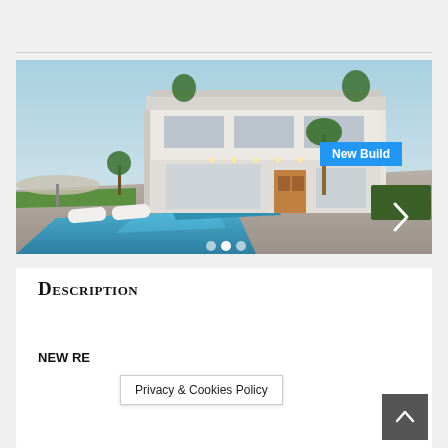[Figure (photo): 3D rendering of a modern white villa with pool, lounge chairs, and landscaping. A blue badge reads 'New Build' in the top-right corner. A right-arrow navigation control is visible on the right edge.]
Description
NEW RE...
Privacy & Cookies Policy